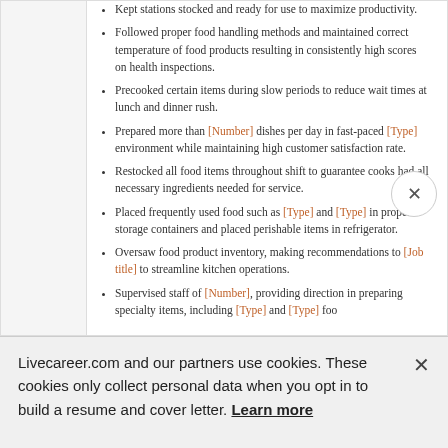Kept stations stocked and ready for use to maximize productivity.
Followed proper food handling methods and maintained correct temperature of food products resulting in consistently high scores on health inspections.
Precooked certain items during slow periods to reduce wait times at lunch and dinner rush.
Prepared more than [Number] dishes per day in fast-paced [Type] environment while maintaining high customer satisfaction rate.
Restocked all food items throughout shift to guarantee cooks had all necessary ingredients needed for service.
Placed frequently used food such as [Type] and [Type] in proper storage containers and placed perishable items in refrigerator.
Oversaw food product inventory, making recommendations to [Job title] to streamline kitchen operations.
Supervised staff of [Number], providing direction in preparing specialty items, including [Type] and [Type] food.
Livecareer.com and our partners use cookies. These cookies only collect personal data when you opt in to build a resume and cover letter. Learn more